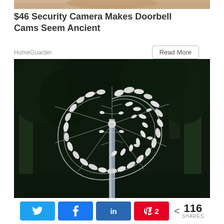[Figure (photo): Partial top strip of a person's face/hair, cropped]
$46 Security Camera Makes Doorbell Cams Seem Ancient
HomeGuarder
Read More
[Figure (photo): A large decorative metal wind spinner sculpture mounted on a pole, photographed against a dark forested background with trees. The sculpture has spiraling arms with disc-shaped elements.]
116 SHARES